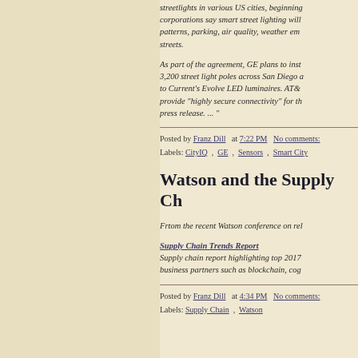streetlights in various US cities, beginning corporations say smart street lighting will patterns, parking, air quality, weather em streets.
As part of the agreement, GE plans to inst 3,200 street light poles across San Diego a to Current's Evolve LED luminaires. AT& provide "highly secure connectivity" for th press release. ... "
Posted by Franz Dill at 7:22 PM No comments:
Labels: CityIQ , GE , Sensors , Smart City
Watson and the Supply Ch
Frtom the recent Watson conference on rel
Supply Chain Trends Report
Supply chain report highlighting top 2017 business partners such as blockchain, cog
Posted by Franz Dill at 4:34 PM No comments:
Labels: Supply Chain , Watson